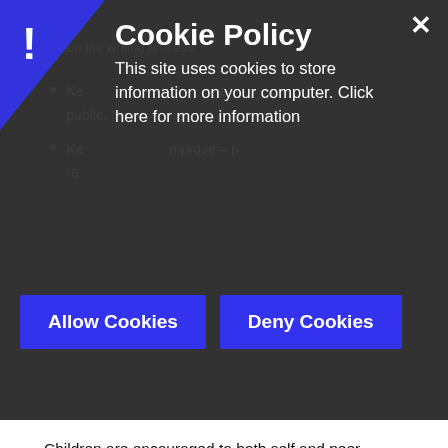[Figure (screenshot): Cookie policy consent banner overlay on a dark background web page. Shows an exclamation mark in a blue triangle, heading 'Cookie Policy', descriptive text, an X close button, and two blue buttons: 'Allow Cookies' and 'Deny Cookies'. Behind the overlay are partially visible bullet points on a dark background.]
Children are encouraged to both self and peer assess their work, particularly focussing on the next steps they need to improve
We teach children handwriting at Glade. This begins with print in year one and two, following the RWI mnemonics for letter formation. In year 2, we then begin to learn to join and this continues through the rest of the school. We believe that a fluent writing script should be developed by